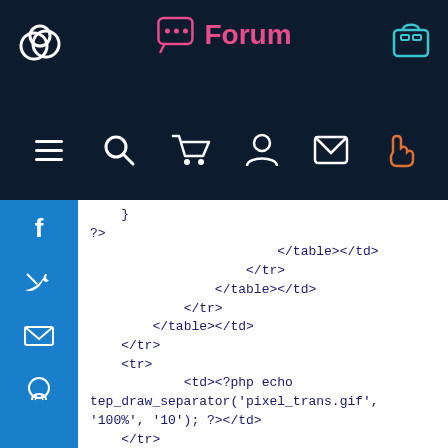Forum - Navigation bar with logo and icons
[Figure (screenshot): Forum website navigation bar with logo (cloud icon on left), Forum label with chat icon in center, bag icon on right, all on dark navy background. Below: icon row with hamburger menu, search, cart, user, envelope, and hand pointer icons.]
[Figure (screenshot): Blue social sidebar with Facebook, Twitter, email, and GitHub icons.]
}
?>
                        </table></td>
                    </tr>
                </table></td>
            </tr>
        </table></td>
    </tr>
    <tr>
            <td><?php echo tep_draw_separator('pixel_trans.gif', '100%', '10'); ?></td>
    </tr>
    <tr>
            <td class="main"><b><?php echo HEADING_BILLING_INFORMATION; ?></b></td>